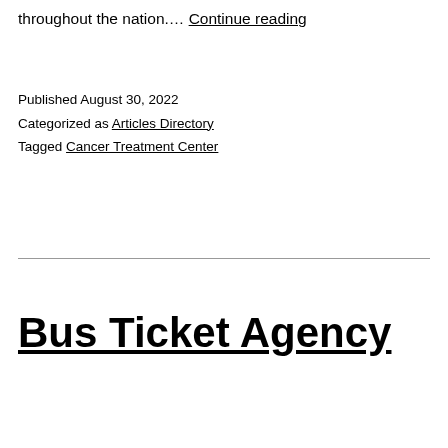throughout the nation.… Continue reading
Published August 30, 2022
Categorized as Articles Directory
Tagged Cancer Treatment Center
Bus Ticket Agency